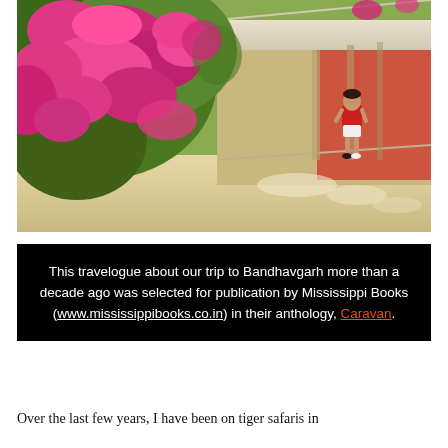[Figure (photo): Outdoor photograph showing vibrant pink/magenta bougainvillea flowers cascading over lush green foliage on the left side, with a covered walkway or corridor on the right side where a child in a red shirt and white shorts is seated. The ground is light-colored and dappled with sunlight.]
This travelogue about our trip to Bandhavgarh more than a decade ago was selected for publication by Mississippi Books (www.mississippibooks.co.in) in their anthology, Caravan.
Over the last few years, I have been on tiger safaris in